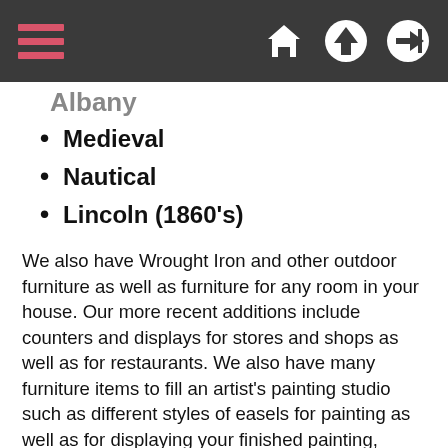Navigation bar with hamburger menu and home, up, login icons
Medieval
Nautical
Lincoln (1860's)
We also have Wrought Iron and other outdoor furniture as well as furniture for any room in your house. Our more recent additions include counters and displays for stores and shops as well as for restaurants. We also have many furniture items to fill an artist's painting studio such as different styles of easels for painting as well as for displaying your finished painting, taborets, canvas cart, artist donkey bench, pastel chest and drafting tables.
We hope that we can provide you with that special quarter scale house kit and accompanying 1:48 scale furniture kits for your next project. Be it one of our trademark French Quarter or Sea Shanty house kits or